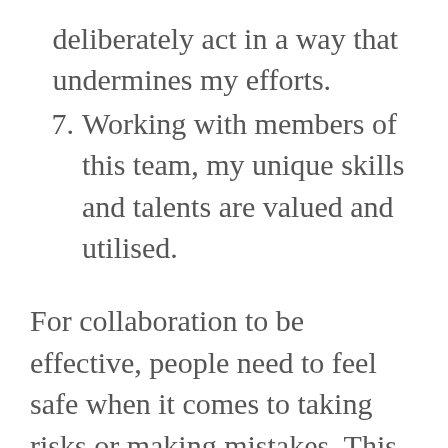deliberately act in a way that undermines my efforts.
7. Working with members of this team, my unique skills and talents are valued and utilised.
For collaboration to be effective, people need to feel safe when it comes to taking risks or making mistakes. This extends to people